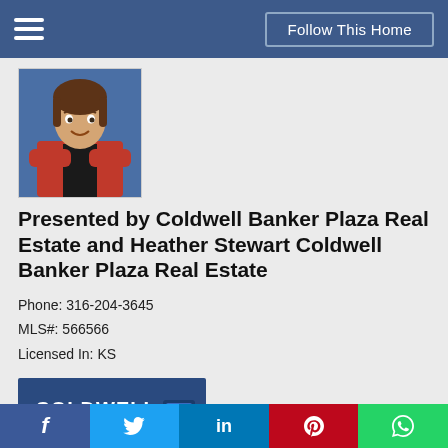Follow This Home
[Figure (photo): Headshot of female real estate agent in red blazer with arms crossed, blue background]
Presented by Coldwell Banker Plaza Real Estate and Heather Stewart Coldwell Banker Plaza Real Estate
Phone: 316-204-3645
MLS#: 566566
Licensed In: KS
[Figure (logo): Coldwell Banker Plaza Real Estate logo — blue background with COLDWELL BANKER text and CB shield, PLAZA REAL ESTATE in gray banner below]